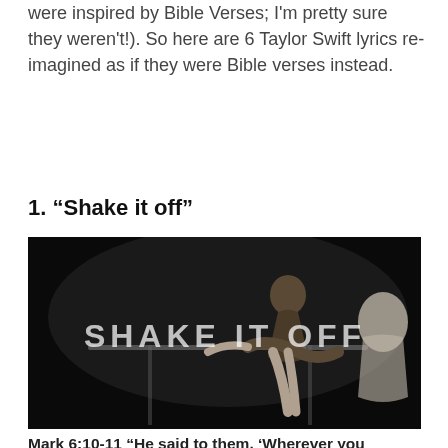were inspired by Bible Verses; I'm pretty sure they weren't!). So here are 6 Taylor Swift lyrics re-imagined as if they were Bible verses instead.
1. “Shake it off”
[Figure (photo): A dancer performing with 'SHAKE IT OFF' text overlaid in white letters on a dark background]
Mark 6:10-11 “He said to them, ‘Wherever you